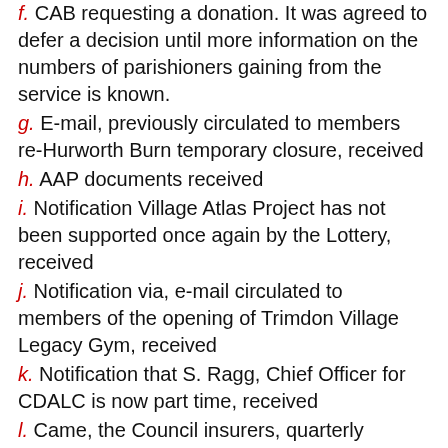f. CAB requesting a donation. It was agreed to defer a decision until more information on the numbers of parishioners gaining from the service is known.
g. E-mail, previously circulated to members re-Hurworth Burn temporary closure, received
h. AAP documents received
i. Notification Village Atlas Project has not been supported once again by the Lottery, received
j. Notification via, e-mail circulated to members of the opening of Trimdon Village Legacy Gym, received
k. Notification that S. Ragg, Chief Officer for CDALC is now part time, received
l. Came, the Council insurers, quarterly magazine, received
10/16 NIB Judging Day
The Chairman advised the Spring Judging of the Parish will take place on the 20th April, 10am. The working party have designed a route and names of those accompanying the judges have been forwarded